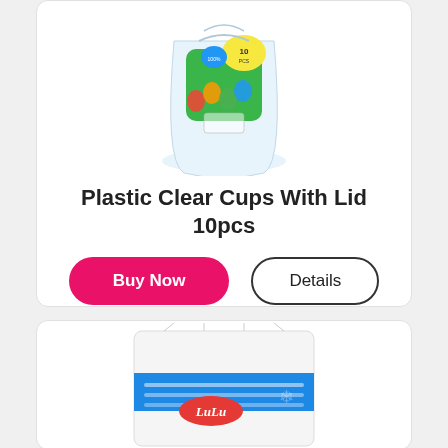[Figure (photo): Plastic clear cups with lid product bag, colorful packaging with balloons and Arabic text, 10pcs]
Plastic Clear Cups With Lid 10pcs
Buy Now
Details
[Figure (photo): LuLu branded product bag, blue and white packaging, partially visible at bottom of page]